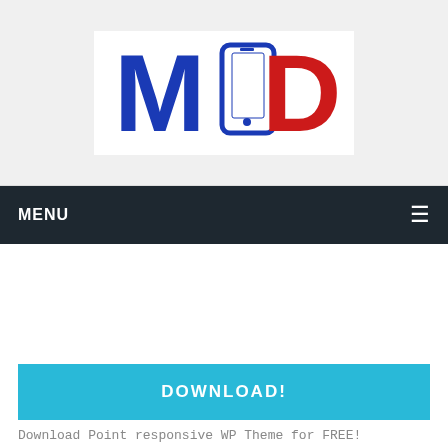[Figure (logo): MOD logo with stylized blue M, phone icon in center, red D letters on white background]
MENU ☰
[Figure (other): Advertisement / blank white ad placeholder area]
DOWNLOAD!
Download Point responsive WP Theme for FREE!
NOKIA LUMIA 900 TO HIT AT&T APRIL 8TH FOR $99.99